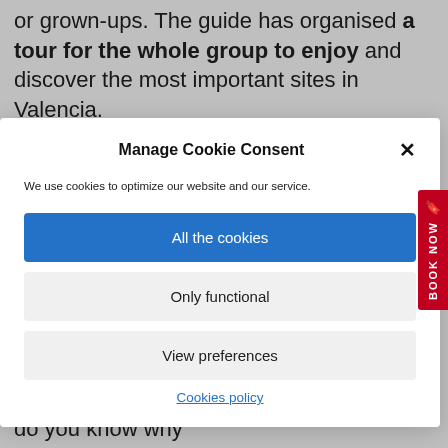or grown-ups. The guide has organised a tour for the whole group to enjoy and discover the most important sites in Valencia.
Manage Cookie Consent
We use cookies to optimize our website and our service.
All the cookies
Only functional
View preferences
Cookies policy
curiosities that sometimes go unnoticed.
Did you know that the city was founded by a group of Roman settlers in 138 BC? And do you know why